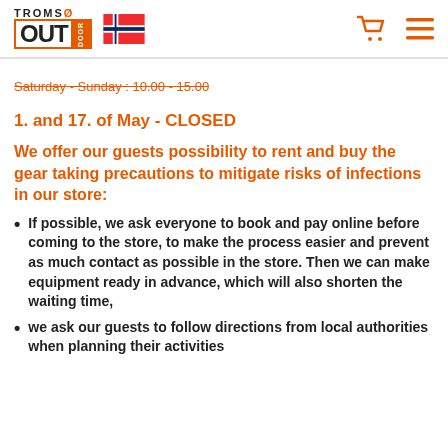[Figure (logo): Tromsø Outdoor logo with Norwegian flag]
Saturday - Sunday : 10.00 - 15.00
1. and 17. of May - CLOSED
We offer our guests possibility to rent and buy the gear taking precautions to mitigate risks of infections in our store:
If possible, we ask everyone to book and pay online before coming to the store, to make the process easier and prevent as much contact as possible in the store. Then we can make equipment ready in advance, which will also shorten the waiting time,
we ask our guests to follow  directions from local authorities when planning their activities